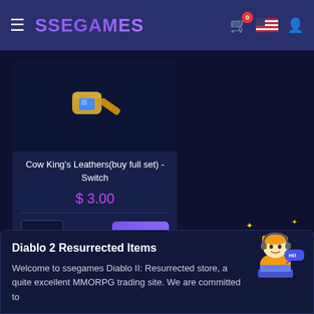SSEGAMES
[Figure (illustration): Game item icon: a hammer with a blue gemstone head and golden handle]
Cow King's Leathers(buy full set) - Switch
$ 3.00
1
Buy
Diablo 2 Resurrected Items
Welcome to ssegames Diablo II: Resurrected store, a quite excellent MMORPG trading site. We are committed to
[Figure (illustration): Customer support character: animated girl with headset sitting at a laptop, with sparkle effects]